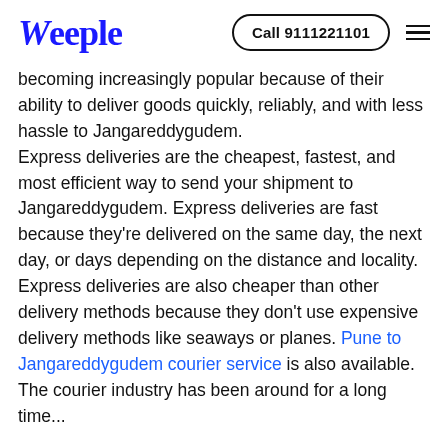Weeple | Call 9111221101
becoming increasingly popular because of their ability to deliver goods quickly, reliably, and with less hassle to Jangareddygudem. Express deliveries are the cheapest, fastest, and most efficient way to send your shipment to Jangareddygudem. Express deliveries are fast because they're delivered on the same day, the next day, or days depending on the distance and locality. Express deliveries are also cheaper than other delivery methods because they don't use expensive delivery methods like seaways or planes. Pune to Jangareddygudem courier service is also available. The courier industry has been around for a long time...